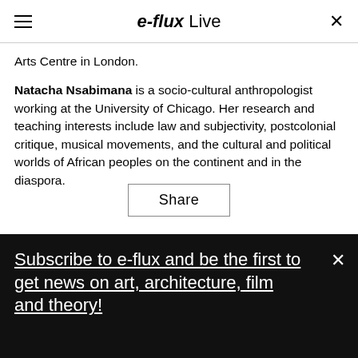e-flux Live
Arts Centre in London.
Natacha Nsabimana is a socio-cultural anthropologist working at the University of Chicago. Her research and teaching interests include law and subjectivity, postcolonial critique, musical movements, and the cultural and political worlds of African peoples on the continent and in the diaspora.
Share
Subscribe to e-flux and be the first to get news on art, architecture, film and theory!